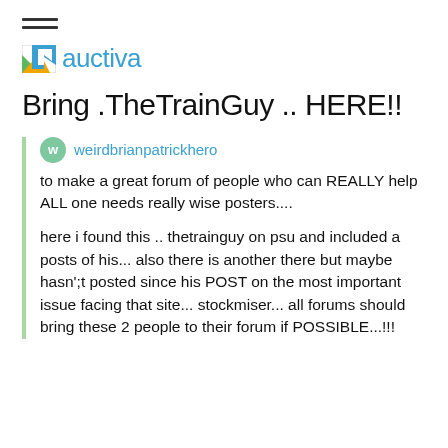[Figure (logo): Auctiva logo with colored arrow icon and blue text 'auctiva']
Bring .TheTrainGuy .. HERE!!
weirdbrianpatrickhero
to make a great forum of people who can REALLY help ALL one needs really wise posters....
here i found this .. thetrainguy on psu and included a posts of his... also there is another there but maybe hasn';t posted since his POST on the most important issue facing that site... stockmiser... all forums should bring these 2 people to their forum if POSSIBLE...!!!